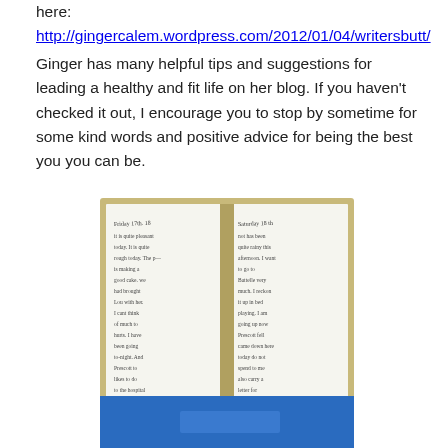here:
http://gingercalem.wordpress.com/2012/01/04/writersbutt/
Ginger has many helpful tips and suggestions for leading a healthy and fit life on her blog. If you haven't checked it out, I encourage you to stop by sometime for some kind words and positive advice for being the best you you can be.
[Figure (photo): An open handwritten journal/diary showing two pages of cursive writing. Left page appears to start with 'Friday 17th' and right page 'Saturday 18th'.]
[Figure (photo): Partial view of a blue image at the bottom of the page, cropped.]